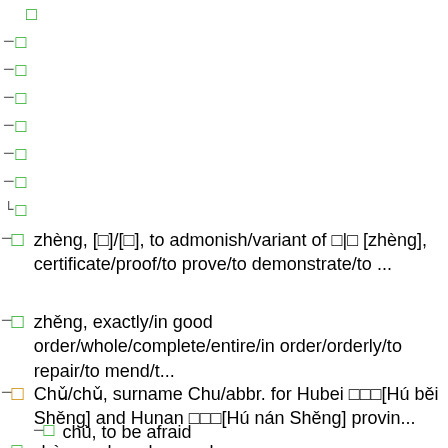㊈ (tree node)
㊈ (tree node)
㊈ (tree node)
㊈ (tree node)
㊈ (tree node)
㊈ (tree node)
㊈ (tree node)
㊈ (tree node)
证 zhèng, [証]/[証], to admonish/variant of 证|証 [zhèng], certificate/proof/to prove/to demonstrate/to ...
整 zhěng, exactly/in good order/whole/complete/entire/in order/orderly/to repair/to mend/t...
楚 Chǔ/chǔ, surname Chu/abbr. for Hubei 湖北省[Hú běi Shěng] and Hunan 湖南省[Hú nán Shěng] provin...
怵 chù, to be afraid
岨 chù, rough and rugged